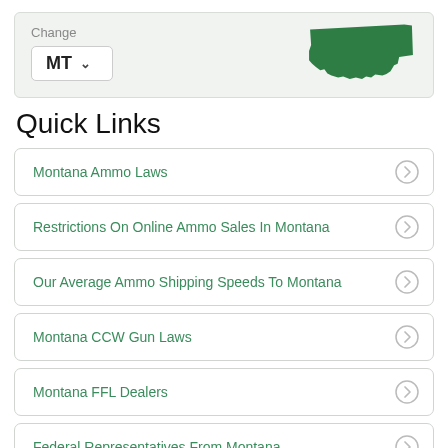[Figure (screenshot): State selector widget showing 'MT' dropdown and green Montana state shape map icon]
Quick Links
Montana Ammo Laws
Restrictions On Online Ammo Sales In Montana
Our Average Ammo Shipping Speeds To Montana
Montana CCW Gun Laws
Montana FFL Dealers
Federal Representatives From Montana